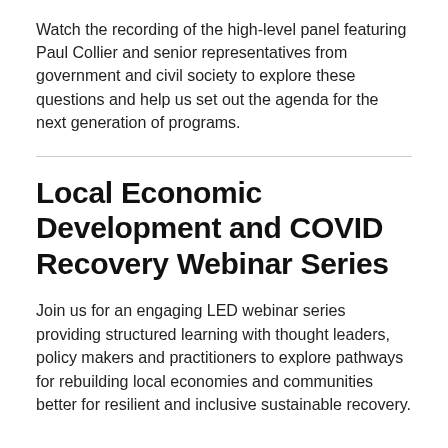Watch the recording of the high-level panel featuring Paul Collier and senior representatives from government and civil society to explore these questions and help us set out the agenda for the next generation of programs.
Local Economic Development and COVID Recovery Webinar Series
Join us for an engaging LED webinar series providing structured learning with thought leaders, policy makers and practitioners to explore pathways for rebuilding local economies and communities better for resilient and inclusive sustainable recovery.